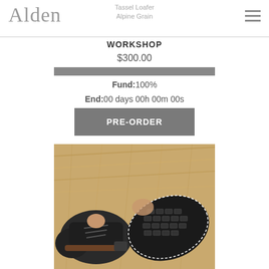Alden
Tassel Loafer Alpine Grain
WORKSHOP
$300.00
[Figure (infographic): Fully filled grey progress bar indicating 100% funding]
Fund: 100%
End: 00 days 00h 00m 00s
PRE-ORDER
[Figure (photo): Photo of black Alden tassel loafer shoes on straw/hay background, showing the sole and upper from multiple angles]